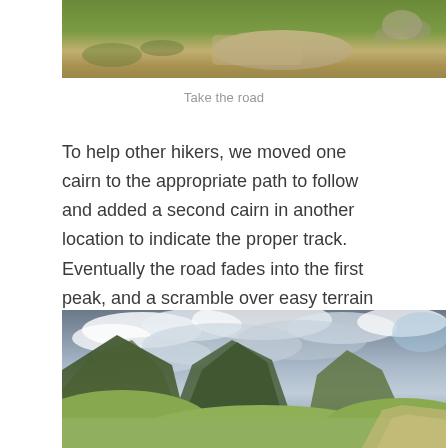[Figure (photo): Partial view of a hiking trail with green grass and rocky terrain, cropped at the top of the page]
Take the road
To help other hikers, we moved one cairn to the appropriate path to follow and added a second cairn in another location to indicate the proper track. Eventually the road fades into the first peak, and a scramble over easy terrain is required.
[Figure (photo): Panoramic mountain landscape with dramatic cloudy sky, green rolling hills, forested mountain slopes, and a dirt road trail visible in the lower right]